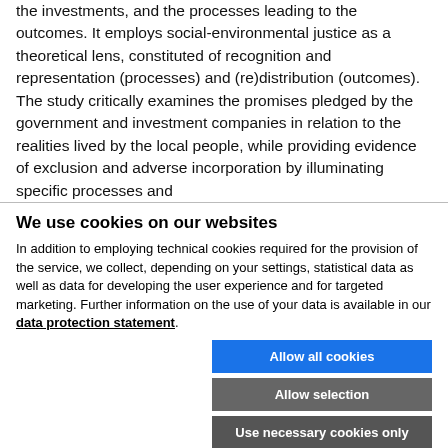the investments, and the processes leading to the outcomes. It employs social-environmental justice as a theoretical lens, constituted of recognition and representation (processes) and (re)distribution (outcomes). The study critically examines the promises pledged by the government and investment companies in relation to the realities lived by the local people, while providing evidence of exclusion and adverse incorporation by illuminating specific processes and
We use cookies on our websites
In addition to employing technical cookies required for the provision of the service, we collect, depending on your settings, statistical data as well as data for developing the user experience and for targeted marketing. Further information on the use of your data is available in our data protection statement.
Allow all cookies
Allow selection
Use necessary cookies only
| Necessary technical cookies | Functional cookies | Show details |
| --- | --- | --- |
| Statistics cookies | Marketing cookies |  |